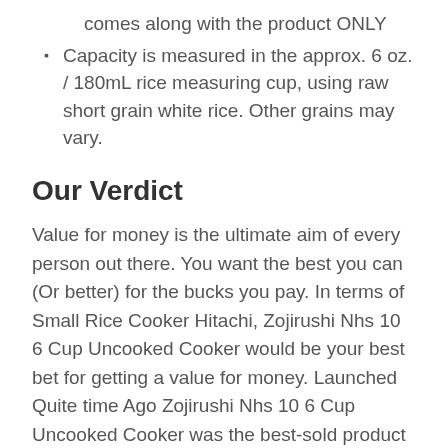comes along with the product ONLY
Capacity is measured in the approx. 6 oz. / 180mL rice measuring cup, using raw short grain white rice. Other grains may vary.
Our Verdict
Value for money is the ultimate aim of every person out there. You want the best you can (Or better) for the bucks you pay. In terms of Small Rice Cooker Hitachi, Zojirushi Nhs 10 6 Cup Uncooked Cooker would be your best bet for getting a value for money. Launched Quite time Ago Zojirushi Nhs 10 6 Cup Uncooked Cooker was the best-sold product and even today, the sales number speak.
Having such amazing features, all this is bundled up at a cost, which may seem high for few, but is actually very